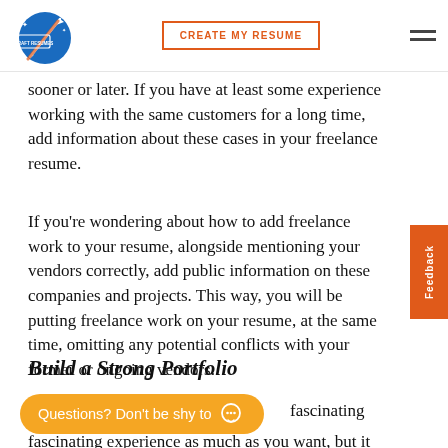Craft Resumes | CREATE MY RESUME
sooner or later. If you have at least some experience working with the same customers for a long time, add information about these cases in your freelance resume.
If you're wondering about how to add freelance work to your resume, alongside mentioning your vendors correctly, add public information on these companies and projects. This way, you will be putting freelance work on your resume, at the same time, omitting any potential conflicts with your former or ongoing vendors.
Build a Strong Portfolio
Questions? Don't be shy to
fascinating experience as much as you want, but it doesn't